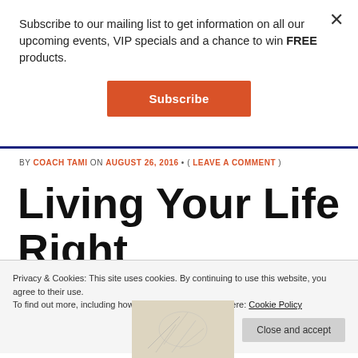Subscribe to our mailing list to get information on all our upcoming events, VIP specials and a chance to win FREE products.
Subscribe
BY COACH TAMI ON AUGUST 26, 2016 • ( LEAVE A COMMENT )
Living Your Life Right
Privacy & Cookies: This site uses cookies. By continuing to use this website, you agree to their use.
To find out more, including how to control cookies, see here: Cookie Policy
Close and accept
[Figure (photo): Small image at bottom, appears to be a decorative/nature photo with light tones and branch-like patterns]